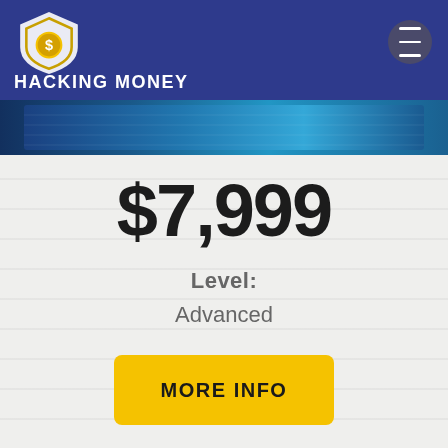HACKING MONEY
[Figure (screenshot): Banner image strip with blue gradient background]
$7,999
Level:
Advanced
MORE INFO